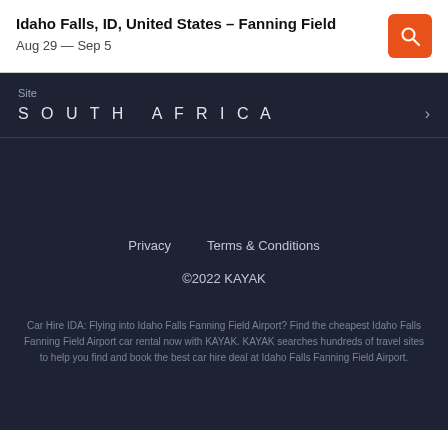Idaho Falls, ID, United States – Fanning Field
Aug 29 — Sep 5
Site
SOUTH AFRICA
Privacy    Terms & Conditions
©2022 KAYAK
Car Hire IDA: Flying into Idaho Falls Fanning Field Airport? Find the cheapest Idaho Falls Fanning Field Airport car rental now with KAYAK. KAYAK searches hundreds of travel sites to help you find and book the best car hire deal at Idaho Falls Fanning Field Airport.